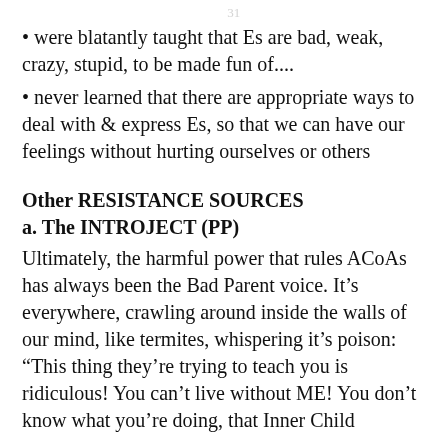31
• were blatantly taught that Es are bad, weak, crazy, stupid, to be made fun of....
• never learned that there are appropriate ways to deal with & express Es, so that we can have our feelings without hurting ourselves or others
Other RESISTANCE SOURCES
a. The INTROJECT (PP)
Ultimately, the harmful power that rules ACoAs has always been the Bad Parent voice. It’s everywhere, crawling around inside the walls of our mind, like termites, whispering it’s poison: “This thing they’re trying to teach you is ridiculous! You can’t live without ME! You don’t know what you’re doing, that Inner Child